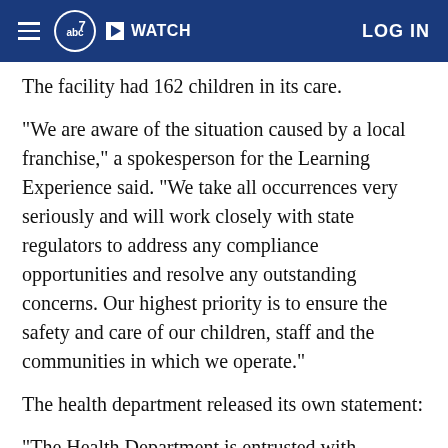abc7 WATCH LOG IN
The facility had 162 children in its care.
"We are aware of the situation caused by a local franchise," a spokesperson for the Learning Experience said. "We take all occurrences very seriously and will work closely with state regulators to address any compliance opportunities and resolve any outstanding concerns. Our highest priority is to ensure the safety and care of our children, staff and the communities in which we operate."
The health department released its own statement:
"The Health Department is entrusted with protecting the health and safety of our littlest New Yorkers.